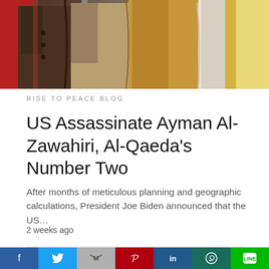[Figure (photo): Cropped photo showing torsos of multiple people wearing various colored garments — dark brown, tan/khaki, white/cream with gold trim — against a background with red elements]
RISE TO PEACE BLOG
US Assassinate Ayman Al-Zawahiri, Al-Qaeda's Number Two
After months of meticulous planning and geographic calculations, President Joe Biden announced that the US…
2 weeks ago